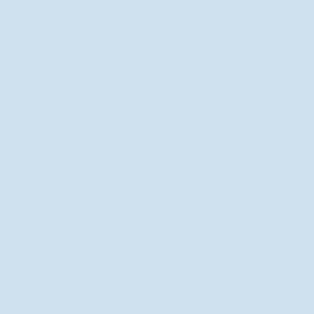interesting. I congratulate the creators fo recommend to my friends this article is g
Posted by: Cheap viagra | November 12, 2010
Never too old to learn.*
Posted by: taobao | November 14, 2010 at 09:1
How can my essay/statement impress p
Posted by: ugg outlet | November 15, 2010 at 1
What gorgeous projects you created. Es
Posted by: timberland | November 17, 2010 at
I totally agree with your post. In today's social media marketing, all of them are category...PROFIT.
Posted by: golf carts for sale | November 22, 20